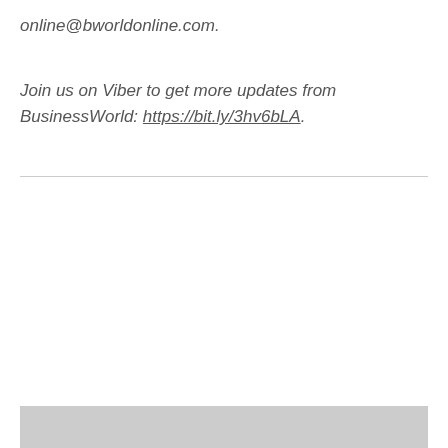online@bworldonline.com.
Join us on Viber to get more updates from BusinessWorld: https://bit.ly/3hv6bLA.